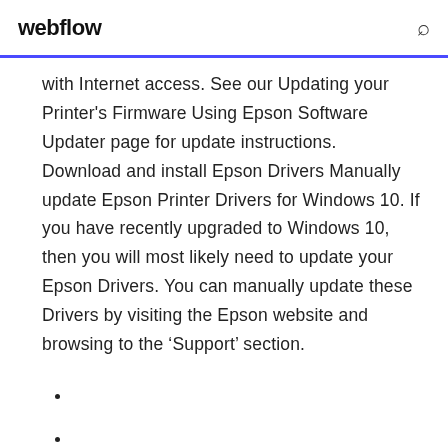webflow
with Internet access. See our Updating your Printer's Firmware Using Epson Software Updater page for update instructions. Download and install Epson Drivers Manually update Epson Printer Drivers for Windows 10. If you have recently upgraded to Windows 10, then you will most likely need to update your Epson Drivers. You can manually update these Drivers by visiting the Epson website and browsing to the ‘Support’ section.